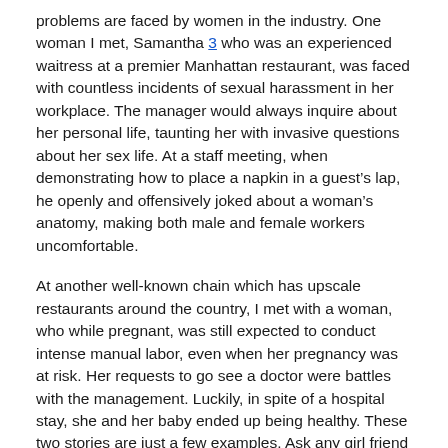problems are faced by women in the industry. One woman I met, Samantha 3 who was an experienced waitress at a premier Manhattan restaurant, was faced with countless incidents of sexual harassment in her workplace. The manager would always inquire about her personal life, taunting her with invasive questions about her sex life. At a staff meeting, when demonstrating how to place a napkin in a guestâ€™s lap, he openly and offensively joked about a womanâ€™s anatomy, making both male and female workers uncomfortable.
At another well-known chain which has upscale restaurants around the country, I met with a woman, who while pregnant, was still expected to conduct intense manual labor, even when her pregnancy was at risk. Her requests to go see a doctor were battles with the management. Luckily, in spite of a hospital stay, she and her baby ended up being healthy. These two stories are just a few examples. Ask any girl friend who has worked in the restaurant industry whether she, or a co-worker suffered any sort of workplace problems while on the floor or in the kitchen. Because of the informal culture of many restaurants, there is no set human resource